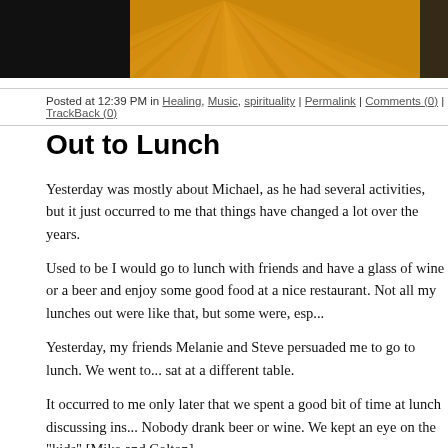[Figure (illustration): Website header banner with golden sunburst rays on brown/orange background, black panels on left and right edges]
Posted at 12:39 PM in Healing, Music, spirituality | Permalink | Comments (0) | TrackBack (0)
Out to Lunch
Yesterday was mostly about Michael, as he had several activities, but it just occurred to me that things have changed a lot over the years.
Used to be I would go to lunch with friends and have a glass of wine or a beer and enjoy some good food at a nice restaurant. Not all my lunches out were like that, but some were, esp...
Yesterday, my friends Melanie and Steve persuaded me to go to lunch. We went to... sat at a different table.
It occurred to me only later that we spent a good bit of time at lunch discussing ins... Nobody drank beer or wine. We kept an eye on the "kids" [Mike and Colton].
Wow, how things have changed. LOL
I still enjoyed just getting out of the house and being with friends.
Michael went over and worked at the Book Fair at his old elementary school yeste... kids. He spent a couple of hours supervising kids making stars and coloring them. I predict that child will grow up to design clothes for Cher...
The Homecoming dance was last night at Michael's school. He didn't ask a date, d...